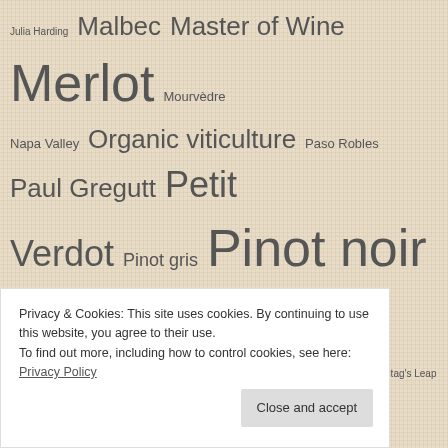[Figure (infographic): Tag cloud of wine-related terms on a linen-textured beige background. Terms vary in font size indicating frequency/importance: Merlot, Pinot noir, and Syrah are largest; Sustainable Viticulture, Walla Walla, Washington Wines and Wineries, Wine Enthusiast, Wine Spectator are large; others like Julia Harding, Malbec, Master of Wine, Mourvèdre, Napa Valley, Organic viticulture, Paso Robles, Paul Gregutt, Petit Verdot, Pinot gris, Red Mountain, Riesling, Rosé Wine, Sauvignon blanc, Sparkling wine, Stag's Leap Wine Cellars, Tempranillo, Viognier, Wine Advocate, Wine Grapes, Wine Searcher, Zinfandel are smaller.]
Privacy & Cookies: This site uses cookies. By continuing to use this website, you agree to their use.
To find out more, including how to control cookies, see here: Privacy Policy